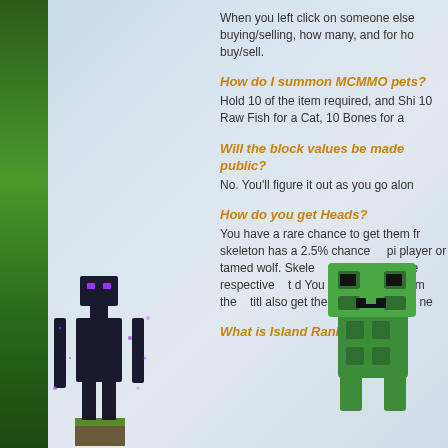When you left click on someone else buying/selling, how many, and for how much to buy/sell.
How do I summon MCMMO pets?
Hold 10 of the item required, and Shift right-click. 10 Raw Fish for a Cat, 10 Bones for a Wolf.
Will the block values be made public?
No. You'll figure it out as you go along.
How do you get Heads?
You have a rare chance to get them from killing. A skeleton has a 2.5% chance of dropping it when killed by a player or tamed wolf. Skeleton heads are also dropped by the respective mob that drops them. You can get them from the shop with title points and also get them by killing mobs.
What is Island Rank?
[Figure (illustration): Minecraft Enderman character standing on grass block on the left side of the page]
[Figure (illustration): Minecraft Creeper character on the right side of the page]